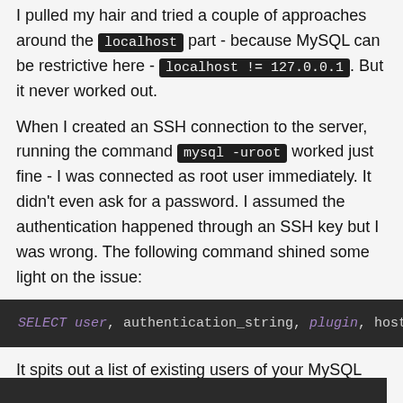I pulled my hair and tried a couple of approaches around the localhost part - because MySQL can be restrictive here - localhost != 127.0.0.1. But it never worked out.
When I created an SSH connection to the server, running the command mysql -uroot worked just fine - I was connected as root user immediately. It didn't even ask for a password. I assumed the authentication happened through an SSH key but I was wrong. The following command shined some light on the issue:
SELECT user, authentication_string, plugin, host FROM
It spits out a list of existing users of your MySQL server, what plugin the user uses for authentication and what hosts are allowed to connect.